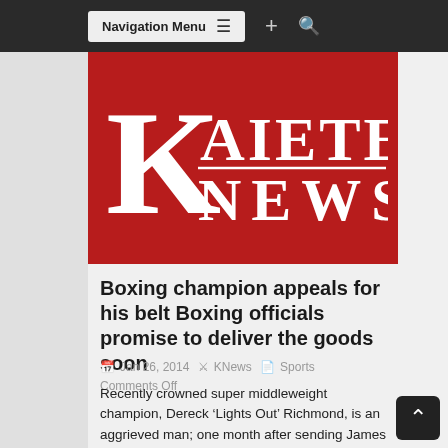Navigation Menu
[Figure (logo): Kaieteur News logo — white serif text on red background. Large 'K' on left, 'AIETEUR' to its right with an underline, 'NEWS' below in wide-spaced capitals.]
Boxing champion appeals for his belt Boxing officials promise to deliver the goods soon
Jan 26, 2014  KNews  Sports Comments Off
Recently crowned super middleweight champion, Dereck 'Lights Out' Richmond, is an aggrieved man; one month after sending James 'Sack' Walcott to the canvas for good and